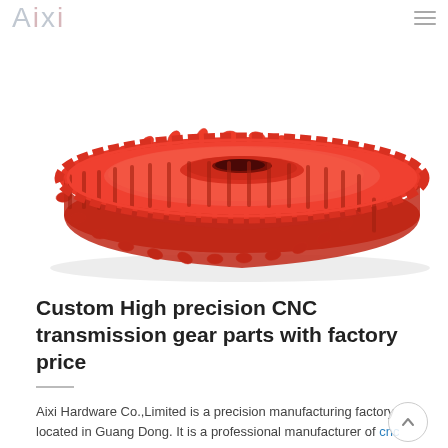Aixi
[Figure (photo): A red plastic spur gear / transmission gear component photographed on a white background, viewed from a slight top-angle showing the toothed circumference and circular top face.]
Custom High precision CNC transmission gear parts with factory price
Aixi Hardware Co.,Limited is a precision manufacturing factory located in Guang Dong. It is a professional manufacturer of cnc processing, 3D printing, stamping,